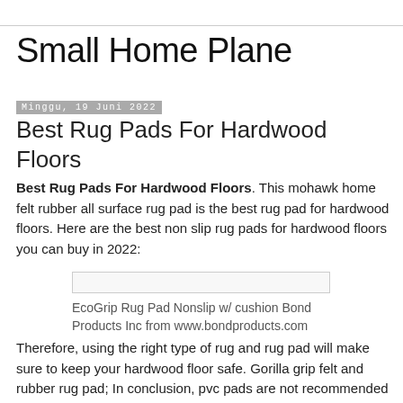Small Home Plane
Minggu, 19 Juni 2022
Best Rug Pads For Hardwood Floors
Best Rug Pads For Hardwood Floors. This mohawk home felt rubber all surface rug pad is the best rug pad for hardwood floors. Here are the best non slip rug pads for hardwood floors you can buy in 2022:
[Figure (other): Image placeholder bar for EcoGrip Rug Pad product image]
EcoGrip Rug Pad Nonslip w/ cushion Bond Products Inc from www.bondproducts.com
Therefore, using the right type of rug and rug pad will make sure to keep your hardwood floor safe. Gorilla grip felt and rubber rug pad; In conclusion, pvc pads are not recommended for use over hardwood floors.